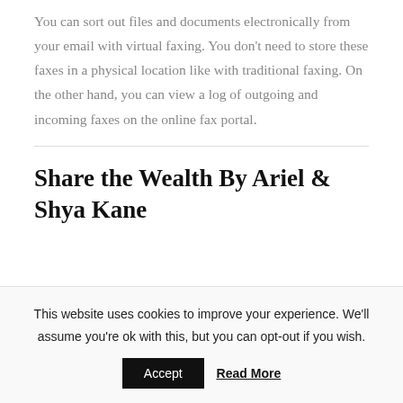You can sort out files and documents electronically from your email with virtual faxing. You don't need to store these faxes in a physical location like with traditional faxing. On the other hand, you can view a log of outgoing and incoming faxes on the online fax portal.
Share the Wealth By Ariel & Shya Kane
This website uses cookies to improve your experience. We'll assume you're ok with this, but you can opt-out if you wish.